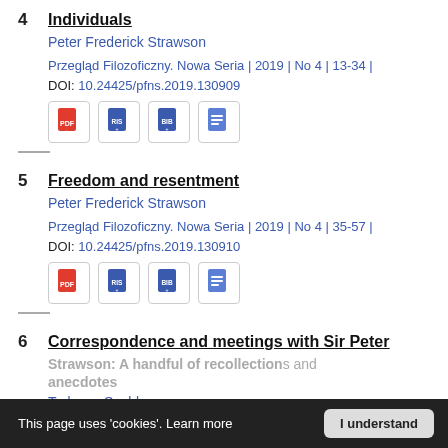4 Individuals
Peter Frederick Strawson
Przegląd Filozoficzny. Nowa Seria | 2019 | No 4 | 13-34 | DOI: 10.24425/pfns.2019.130909
[Figure (other): Row of four document icon buttons: PDF (red), RIS (blue), BIB (blue), document (blue)]
5 Freedom and resentment
Peter Frederick Strawson
Przegląd Filozoficzny. Nowa Seria | 2019 | No 4 | 35-57 | DOI: 10.24425/pfns.2019.130910
[Figure (other): Row of four document icon buttons: PDF (red), RIS (blue), BIB (blue), document (blue)]
6 Correspondence and meetings with Sir Peter Strawson: A handful of recollections and anecdotes
Tadeusz Szubka
This page uses 'cookies'. Learn more  I understand